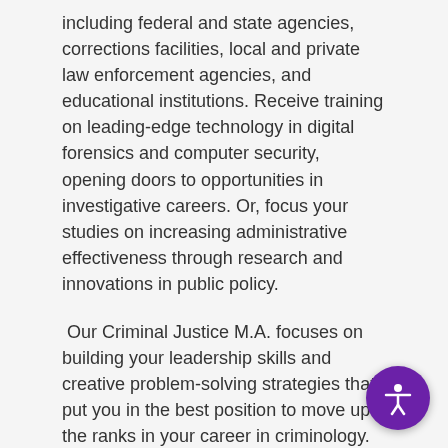including federal and state agencies, corrections facilities, local and private law enforcement agencies, and educational institutions. Receive training on leading-edge technology in digital forensics and computer security, opening doors to opportunities in investigative careers. Or, focus your studies on increasing administrative effectiveness through research and innovations in public policy.
Our Criminal Justice M.A. focuses on building your leadership skills and creative problem-solving strategies that put you in the best position to move up the ranks in your career in criminology.
Why get a Master of Arts in Criminal Justice?
With a Criminal Justice M.A., you will obtain the skills needed to create real change in the legal system at administrative, operational, and community levels. Our curriculum develops your abilities by focusing on